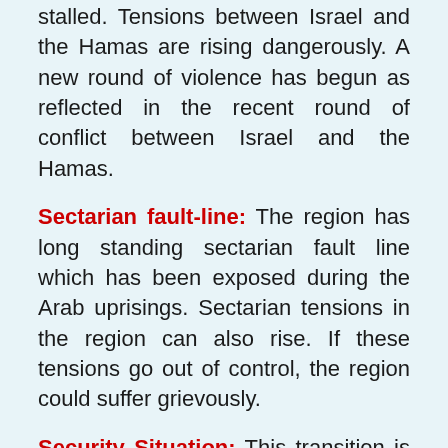stalled. Tensions between Israel and the Hamas are rising dangerously. A new round of violence has begun as reflected in the recent round of conflict between Israel and the Hamas.
Sectarian fault-line: The region has long standing sectarian fault line which has been exposed during the Arab uprisings. Sectarian tensions in the region can also rise. If these tensions go out of control, the region could suffer grievously.
Security Situation: This transition is taking place in the backdrop of global economic crisis, sharp decline in economic growth and rise in unemployment in several countries in the region. Political uncertainty & low economic growth will cause hardships for the people who are expecting fundamental reforms and